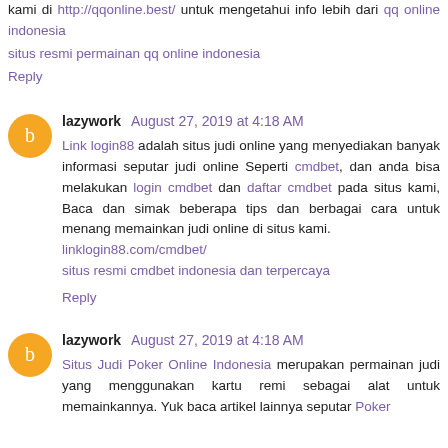kami di http://qqonline.best/ untuk mengetahui info lebih dari qq online indonesia
situs resmi permainan qq online indonesia
Reply
lazywork August 27, 2019 at 4:18 AM
Link login88 adalah situs judi online yang menyediakan banyak informasi seputar judi online Seperti cmdbet, dan anda bisa melakukan login cmdbet dan daftar cmdbet pada situs kami, Baca dan simak beberapa tips dan berbagai cara untuk menang memainkan judi online di situs kami.
linklogin88.com/cmdbet/
situs resmi cmdbet indonesia dan terpercaya
Reply
lazywork August 27, 2019 at 4:18 AM
Situs Judi Poker Online Indonesia merupakan permainan judi yang menggunakan kartu remi sebagai alat untuk memainkannya. Yuk baca artikel lainnya seputar Poker